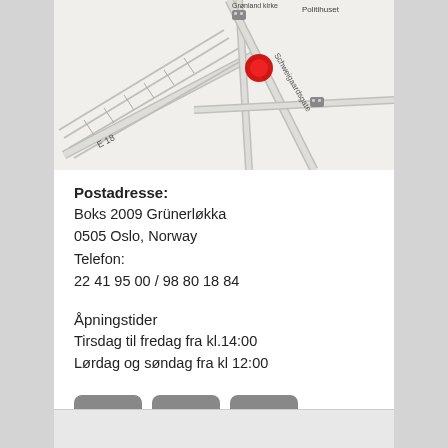[Figure (map): Street map showing location in Oslo, near Grønland kirke and Politihuset, with a red dot marker at the location. Roads include E18 and Schweigaardsgate.]
Postadresse:
Boks 2009 Grünerløkka
0505 Oslo, Norway
Telefon:
22 41 95 00 / 98 80 18 84
Åpningstider
Tirsdag til fredag fra kl.14:00
Lørdag og søndag fra kl 12:00
[Figure (illustration): Three social media icons: Facebook (f), Twitter (t), Instagram (camera icon), displayed as grey rounded square buttons.]